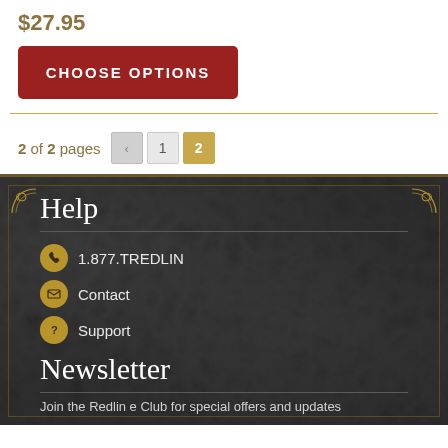$27.95
CHOOSE OPTIONS
2 of 2 pages  < 1 2
Help
1.877.TREDLIN
Contact
Support
Newsletter
Join the Redlin e Club for special offers and updates